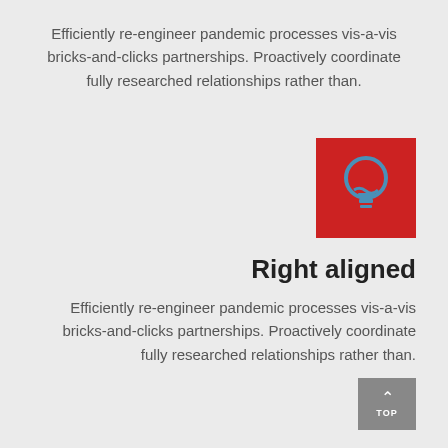Efficiently re-engineer pandemic processes vis-a-vis bricks-and-clicks partnerships. Proactively coordinate fully researched relationships rather than.
[Figure (illustration): Red square background with a blue lightbulb icon in the center]
Right aligned
Efficiently re-engineer pandemic processes vis-a-vis bricks-and-clicks partnerships. Proactively coordinate fully researched relationships rather than.
[Figure (other): Gray button with upward arrow and TOP label]